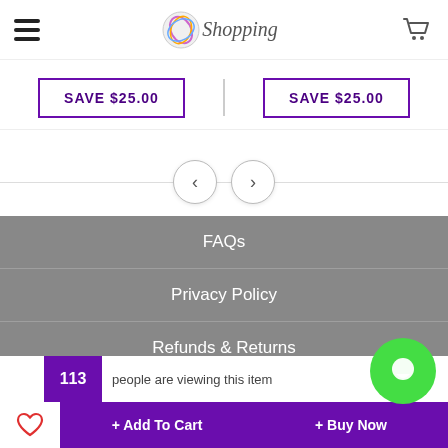GO Shopping logo and navigation bar
SAVE $25.00 | SAVE $25.00
[Figure (other): Carousel navigation arrows (previous and next)]
FAQs
Privacy Policy
Refunds & Returns
Shipping & Delivery
113 people are viewing this item
+ Add To Cart
+ Buy Now